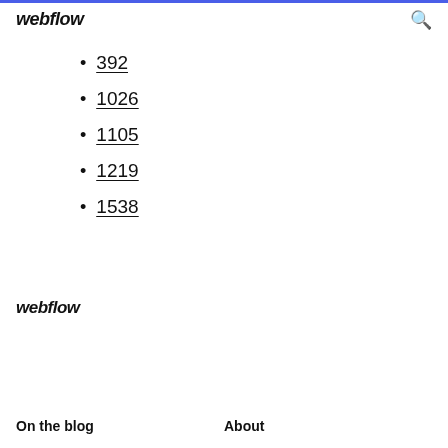webflow
392
1026
1105
1219
1538
webflow
On the blog   About